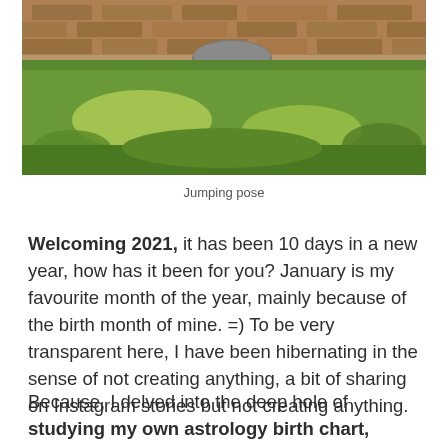[Figure (photo): Outdoor photo showing green grass lawn with a stone/brick wall in the background. Natural daylight with shadows on the grass.]
Jumping pose
Welcoming 2021, it has been 10 days in a new year, how has it been for you? January is my favourite month of the year, mainly because of the birth month of mine. =) To be very transparent here, I have been hibernating in the sense of not creating anything, a bit of sharing on Instagram stories but not creating anything.
Because, I delved into the deep hole of studying my own astrology birth chart, understanding my signs, planets and houses. It has been a huge